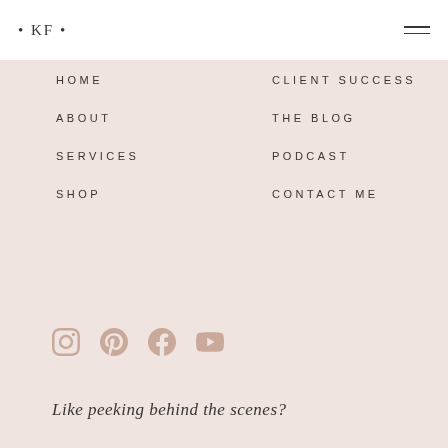• KF •
HOME
CLIENT SUCCESS
ABOUT
THE BLOG
SERVICES
PODCAST
SHOP
CONTACT ME
[Figure (infographic): Social media icons: Instagram, Pinterest, Facebook, YouTube]
Like peeking behind the scenes?
Get on the list